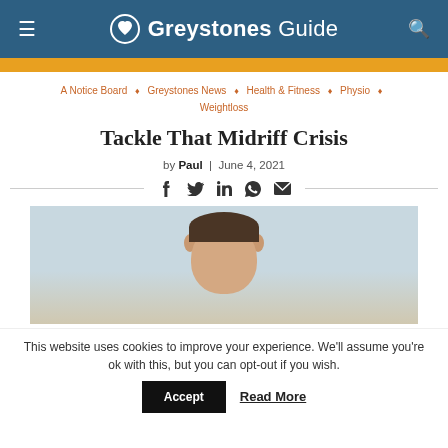Greystones Guide
A Notice Board ◇ Greystones News ◇ Health & Fitness ◇ Physio ◇ Weightloss
Tackle That Midriff Crisis
by Paul | June 4, 2021
[Figure (photo): Social sharing icons row: Facebook, Twitter, LinkedIn, WhatsApp, Email]
[Figure (photo): Photo of a man (head and shoulders, brown hair, light skin), with a light blue-grey background]
This website uses cookies to improve your experience. We'll assume you're ok with this, but you can opt-out if you wish.
Accept  Read More